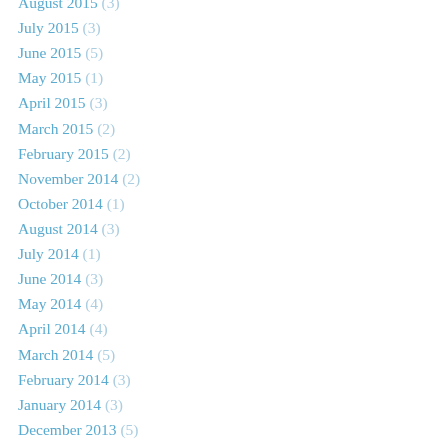August 2015 (3)
July 2015 (3)
June 2015 (5)
May 2015 (1)
April 2015 (3)
March 2015 (2)
February 2015 (2)
November 2014 (2)
October 2014 (1)
August 2014 (3)
July 2014 (1)
June 2014 (3)
May 2014 (4)
April 2014 (4)
March 2014 (5)
February 2014 (3)
January 2014 (3)
December 2013 (5)
November 2013 (2)
October 2013 (4)